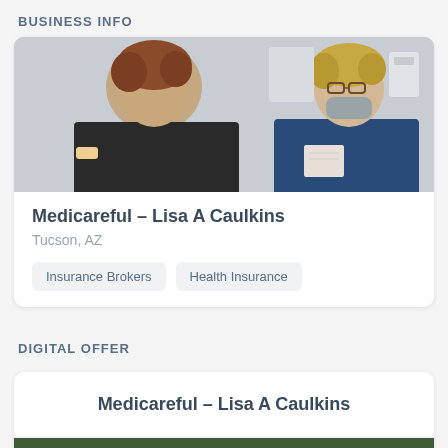BUSINESS INFO
[Figure (photo): Two women in a medical office setting, one wearing a black top with a bandage on her arm, the other in a navy top wearing a face mask and glasses holding a clipboard]
Medicareful - Lisa A Caulkins
Tucson, AZ
Insurance Brokers
Health Insurance
DIGITAL OFFER
Medicareful - Lisa A Caulkins
[Figure (photo): Partial photo of green foliage/trees visible at bottom of page]